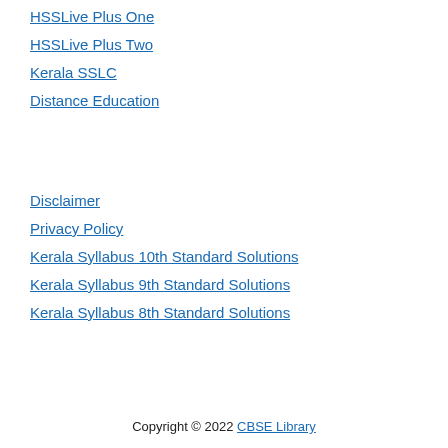HSSLive Plus One
HSSLive Plus Two
Kerala SSLC
Distance Education
Disclaimer
Privacy Policy
Kerala Syllabus 10th Standard Solutions
Kerala Syllabus 9th Standard Solutions
Kerala Syllabus 8th Standard Solutions
Copyright © 2022 CBSE Library